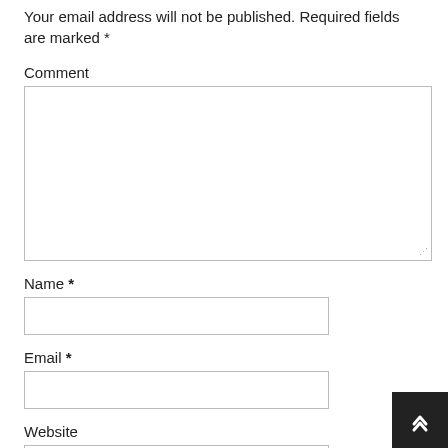Your email address will not be published. Required fields are marked *
Comment
Name *
Email *
Website
Save my name, email, and website in this browser for